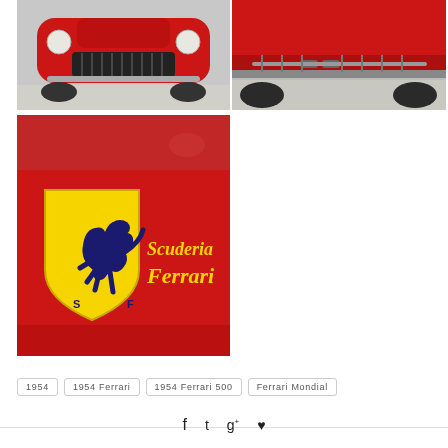[Figure (photo): Front view of a red Ferrari classic car on pavement]
[Figure (photo): Rear undercarriage view of a red Ferrari on pavement]
[Figure (photo): Close-up of Scuderia Ferrari prancing horse shield badge on red bodywork]
1954
1954 Ferrari
1954 Ferrari 500
Ferrari Mondial